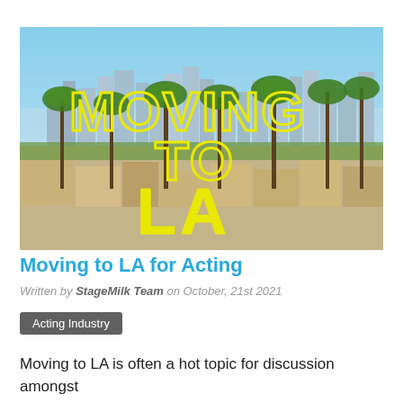[Figure (photo): Aerial photo of Los Angeles skyline with palm trees in foreground and downtown skyscrapers in background. Overlaid text reads MOVING TO LA in large yellow outlined/filled letters.]
Moving to LA for Acting
Written by StageMilk Team on October, 21st 2021
Acting Industry
Moving to LA is often a hot topic for discussion amongst